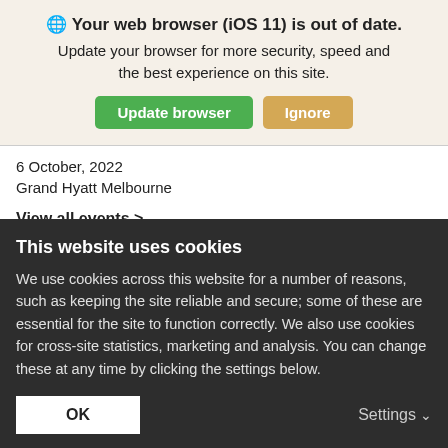🌐 Your web browser (iOS 11) is out of date. Update your browser for more security, speed and the best experience on this site.
[Figure (screenshot): Two buttons: 'Update browser' (green) and 'Ignore' (tan/orange)]
6 October, 2022
Grand Hyatt Melbourne
View all events >
This website uses cookies
We use cookies across this website for a number of reasons, such as keeping the site reliable and secure; some of these are essential for the site to function correctly. We also use cookies for cross-site statistics, marketing and analysis. You can change these at any time by clicking the settings below.
OK
Settings